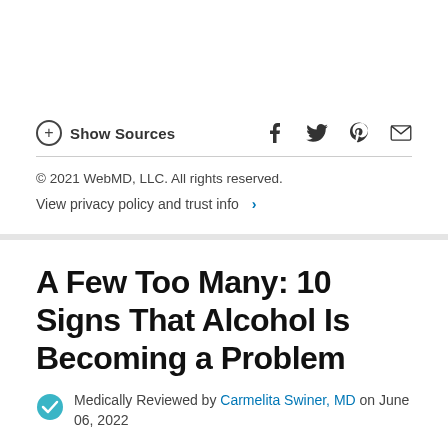Show Sources
© 2021 WebMD, LLC. All rights reserved.
View privacy policy and trust info
A Few Too Many: 10 Signs That Alcohol Is Becoming a Problem
Medically Reviewed by Carmelita Swiner, MD on June 06, 2022